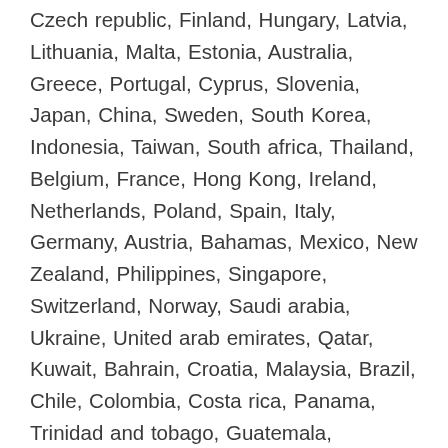Czech republic, Finland, Hungary, Latvia, Lithuania, Malta, Estonia, Australia, Greece, Portugal, Cyprus, Slovenia, Japan, China, Sweden, South Korea, Indonesia, Taiwan, South africa, Thailand, Belgium, France, Hong Kong, Ireland, Netherlands, Poland, Spain, Italy, Germany, Austria, Bahamas, Mexico, New Zealand, Philippines, Singapore, Switzerland, Norway, Saudi arabia, Ukraine, United arab emirates, Qatar, Kuwait, Bahrain, Croatia, Malaysia, Brazil, Chile, Colombia, Costa rica, Panama, Trinidad and tobago, Guatemala, Honduras, Jamaica, Antigua and barbuda, Aruba, Belize, Dominica, Grenada, Saint kitts and nevis, Saint lucia, Montserrat, Turks and caicos islands, Barbados, Bangladesh, Bermuda, Brunei darussalam, Bolivia, Ecuador, Egypt, French guiana, Guernsey, Gibraltar, Guadeloupe, Iceland, Jersey, Jordan, Cambodia, Cayman islands, Liechtenstein, Sri lanka, Luxembourg, Monaco, Macao, Martinique, Maldives, Nicaragua, Oman, Peru, Pakistan, Paraguay, Reunion,